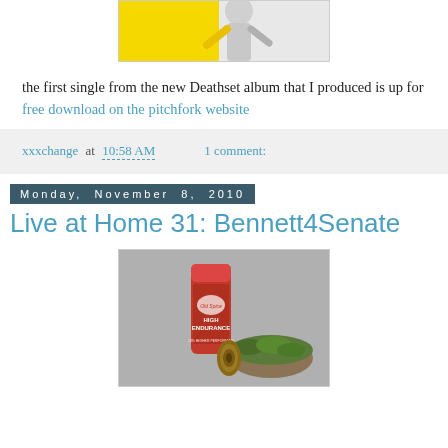[Figure (photo): Top portion of a photo with yellow background and black and white figure, partially cropped at top of page]
the first single from the new Deathset album that I produced is up for free download on the pitchfork website
xxxchange at 10:58 AM    1 comment:
Monday, November 8, 2010
Live at Home 31: Bennett4Senate
[Figure (photo): Photo of an Old Spice High Endurance deodorant stick standing next to a mossy log on a gray background]